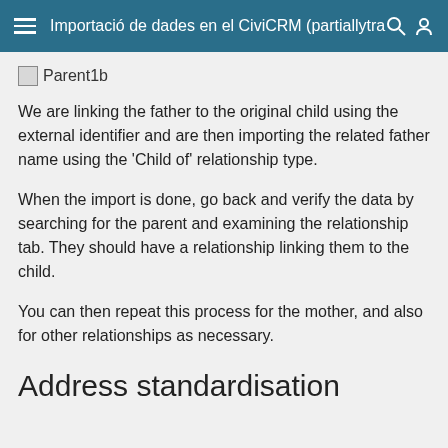Importació de dades en el CiviCRM (partiallytra
[Figure (illustration): Broken image placeholder labeled Parent1b]
We are linking the father to the original child using the external identifier and are then importing the related father name using the 'Child of' relationship type.
When the import is done, go back and verify the data by searching for the parent and examining the relationship tab. They should have a relationship linking them to the child.
You can then repeat this process for the mother, and also for other relationships as necessary.
Address standardisation